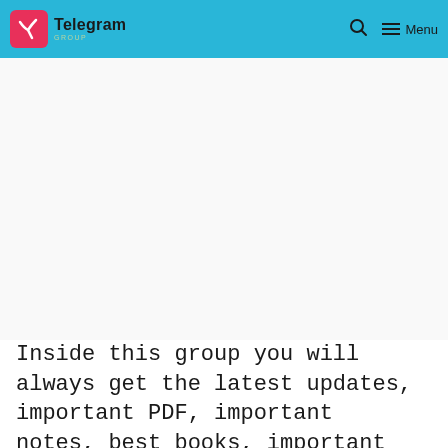Telegram GROUP
[Figure (screenshot): Advertisement placeholder area (blank white space)]
Inside this group you will always get the latest updates, important PDF, important notes, best books, important quizzes, essays on main